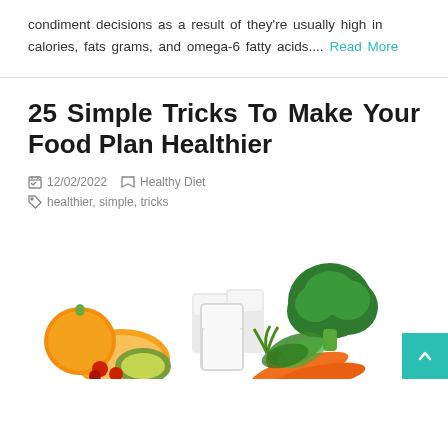condiment decisions as a result of they're usually high in calories, fats grams, and omega-6 fatty acids.... Read More
25 Simple Tricks To Make Your Food Plan Healthier
12/02/2022   Healthy Diet
healthier, simple, tricks
[Figure (photo): Photo of healthy foods including oranges, kiwi, berries, glasses of milk, broccoli, carrots, and leafy greens]